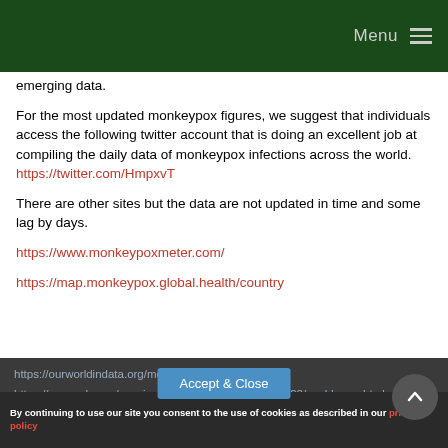Menu
emerging data.
For the most updated monkeypox figures, we suggest that individuals access the following twitter account that is doing an excellent job at compiling the daily data of monkeypox infections across the world. https://twitter.com/HmpxvT
There are other sites but the data are not updated in time and some lag by days.
https://www.monkeypoxmeter.com/
https://map.monkeypox.global.health/country
https://ourworldindata.org/monkeypox
https://www.cdc.gov/poxvirus/monkeypox/response/2022/world-map.html
By continuing to use our site you consent to the use of cookies as described in our privacy policy